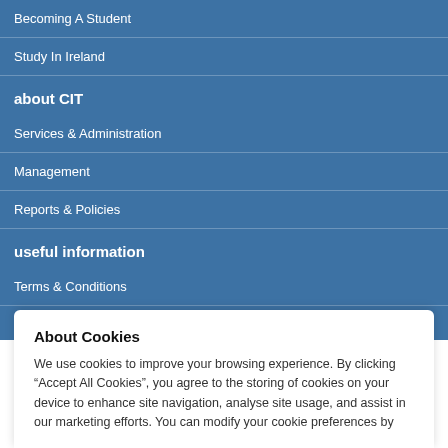Becoming A Student
Study In Ireland
about CIT
Services & Administration
Management
Reports & Policies
useful information
Terms & Conditions
Freedom Of Information
About Cookies
We use cookies to improve your browsing experience. By clicking “Accept All Cookies”, you agree to the storing of cookies on your device to enhance site navigation, analyse site usage, and assist in our marketing efforts. You can modify your cookie preferences by